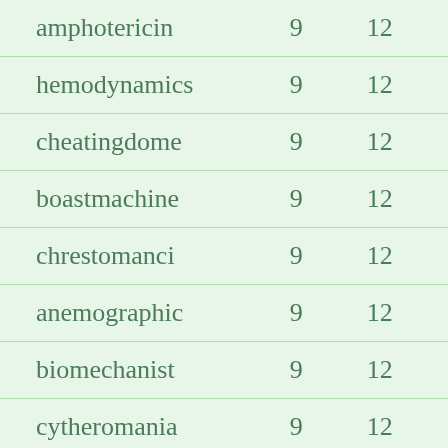| amphotericin | 9 | 12 |
| hemodynamics | 9 | 12 |
| cheatingdome | 9 | 12 |
| boastmachine | 9 | 12 |
| chrestomanci | 9 | 12 |
| anemographic | 9 | 12 |
| biomechanist | 9 | 12 |
| cytheromania | 9 | 12 |
| demonarchize | 9 | 12 |
| diaphonomics | 9 | 12 |